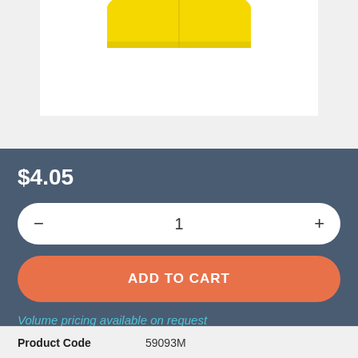[Figure (photo): Product image of a yellow item shown against a white background, partially cropped at the top]
$4.05
1
ADD TO CART
Volume pricing available on request
Product Code   59093M